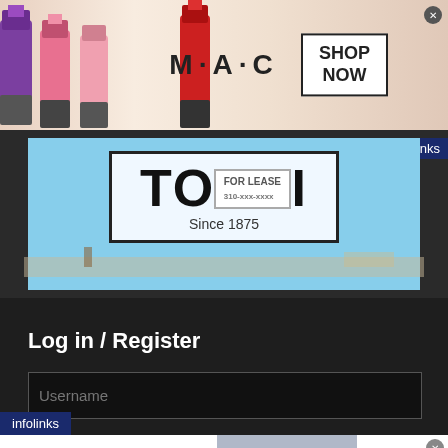[Figure (screenshot): MAC cosmetics advertisement banner with lipsticks and SHOP NOW button]
[Figure (screenshot): TOUSI Since 1875 storefront billboard advertisement with For Lease sign and infolinks badge]
Log in / Register
Username
[Figure (screenshot): Bloomingdales advertisement - View Today's Top Deals! with SHOP NOW > button and model with hat. infolinks badge bottom left.]